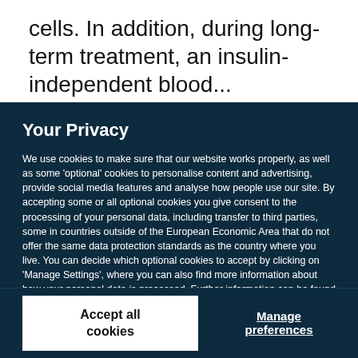cells. In addition, during long-term treatment, an insulin-independent blood...
Your Privacy
We use cookies to make sure that our website works properly, as well as some 'optional' cookies to personalise content and advertising, provide social media features and analyse how people use our site. By accepting some or all optional cookies you give consent to the processing of your personal data, including transfer to third parties, some in countries outside of the European Economic Area that do not offer the same data protection standards as the country where you live. You can decide which optional cookies to accept by clicking on 'Manage Settings', where you can also find more information about how your personal data is processed. Further information can be found in our privacy policy.
Accept all cookies
Manage preferences